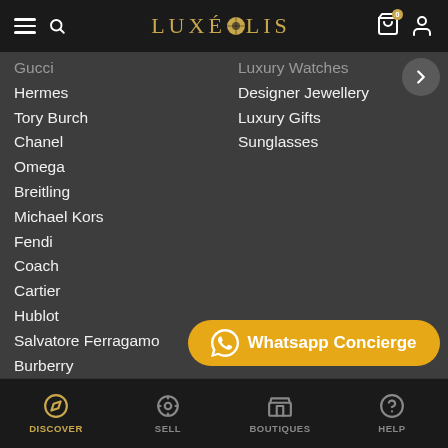LUXÉPOLIS
Gucci
Hermes
Tory Burch
Chanel
Omega
Breitling
Michael Kors
Fendi
Coach
Cartier
Hublot
Salvatore Ferragamo
Burberry
Tag Heuer
Audemars Piguet
Patek Philippe
Panerai
Luxury Watches
Designer Jewellery
Luxury Gifts
Sunglasses
Whatsapp Concierge
DISCOVER | SELL | BOUTIQUES | HELP